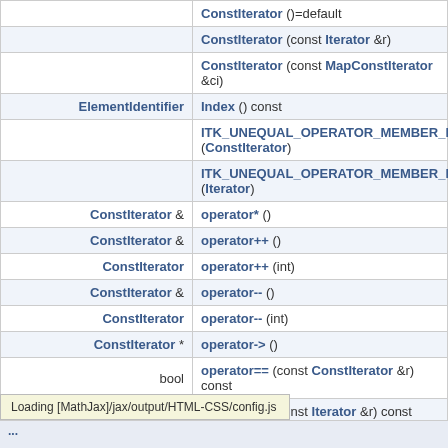| Return type | Function |
| --- | --- |
|  | ConstIterator ()=default |
|  | ConstIterator (const Iterator &r) |
|  | ConstIterator (const MapConstIterator &ci) |
| ElementIdentifier | Index () const |
|  | ITK_UNEQUAL_OPERATOR_MEMBER_FUNC (ConstIterator) |
|  | ITK_UNEQUAL_OPERATOR_MEMBER_FUNC (Iterator) |
| ConstIterator & | operator* () |
| ConstIterator & | operator++ () |
| ConstIterator | operator++ (int) |
| ConstIterator & | operator-- () |
| ConstIterator | operator-- (int) |
| ConstIterator * | operator-> () |
| bool | operator== (const ConstIterator &r) const |
| bool | operator== (const Iterator &r) const |
| const Element & | Value () const |
Loading [MathJax]/jax/output/HTML-CSS/config.js